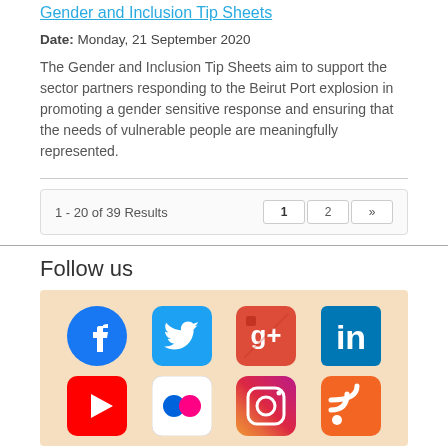Gender and Inclusion Tip Sheets
Date: Monday, 21 September 2020
The Gender and Inclusion Tip Sheets aim to support the sector partners responding to the Beirut Port explosion in promoting a gender sensitive response and ensuring that the needs of vulnerable people are meaningfully represented.
1 - 20 of 39 Results
Follow us
[Figure (infographic): Social media icons grid: Facebook, Twitter, Google+, LinkedIn (top row); YouTube, Flickr, Instagram, RSS (bottom row) on a peach/beige background]